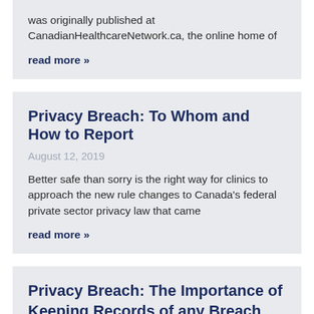was originally published at CanadianHealthcareNetwork.ca, the online home of
read more »
Privacy Breach: To Whom and How to Report
August 12, 2019
Better safe than sorry is the right way for clinics to approach the new rule changes to Canada's federal private sector privacy law that came
read more »
Privacy Breach: The Importance of Keeping Records of any Breach